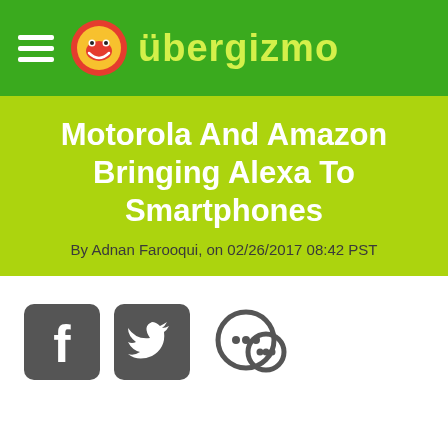übergizmo
Motorola And Amazon Bringing Alexa To Smartphones
By Adnan Farooqui, on 02/26/2017 08:42 PST
[Figure (other): Social sharing icons: Facebook, Twitter, and Comments/Chat]